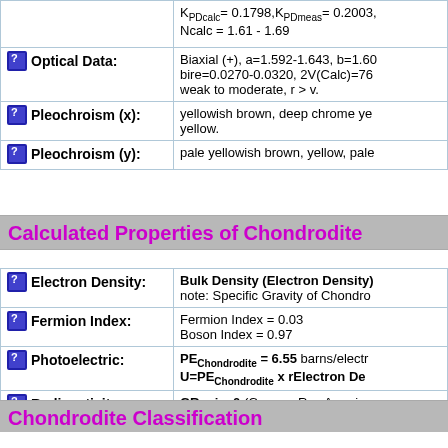| Optical Data: | Biaxial (+), a=1.592-1.643, b=1.60... bire=0.0270-0.0320, 2V(Calc)=76... weak to moderate, r > v. |
| Pleochroism (x): | yellowish brown, deep chrome ye... yellow. |
| Pleochroism (y): | pale yellowish brown, yellow, pale... |
Calculated Properties of Chondrodite
| Electron Density: | Bulk Density (Electron Density)... note: Specific Gravity of Chondro... |
| Fermion Index: | Fermion Index = 0.03
Boson Index = 0.97 |
| Photoelectric: | PEChondrodite = 6.55 barns/electr...
U=PEChondrodite x rElectron De... |
| Radioactivity: | GRapi = 0 (Gamma Ray America...
Chondrodite is Not Radioactive |
Chondrodite Classification